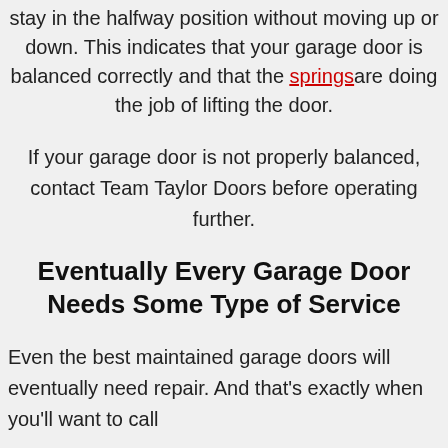stay in the halfway position without moving up or down. This indicates that your garage door is balanced correctly and that the springs are doing the job of lifting the door.
If your garage door is not properly balanced, contact Team Taylor Doors before operating further.
Eventually Every Garage Door Needs Some Type of Service
Even the best maintained garage doors will eventually need repair. And that's exactly when you'll want to call